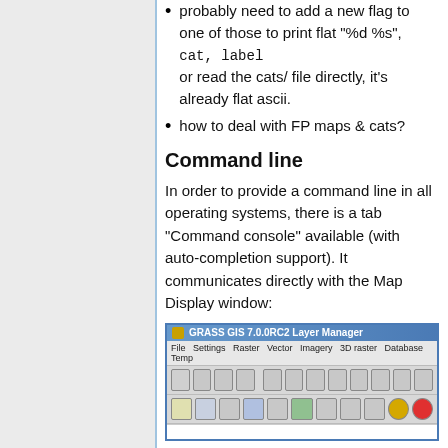probably need to add a new flag to one of those to print flat "%d %s", cat, label or read the cats/ file directly, it's already flat ascii.
how to deal with FP maps & cats?
Command line
In order to provide a command line in all operating systems, there is a tab "Command console" available (with auto-completion support). It communicates directly with the Map Display window:
[Figure (screenshot): Screenshot of GRASS GIS 7.0.0RC2 Layer Manager window showing menu bar with File, Settings, Raster, Vector, Imagery, 3D raster, Database, Temp menus, and two toolbars with various icon buttons.]